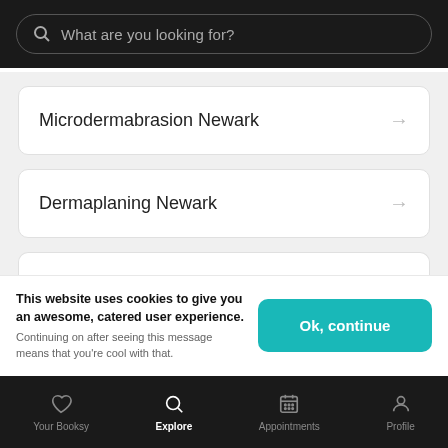[Figure (screenshot): Search bar with placeholder text 'What are you looking for?' on dark background]
Microdermabrasion Newark
Dermaplaning Newark
Facials Newark
This website uses cookies to give you an awesome, catered user experience. Continuing on after seeing this message means that you're cool with that.
Your Booksy | Explore | Appointments | Profile